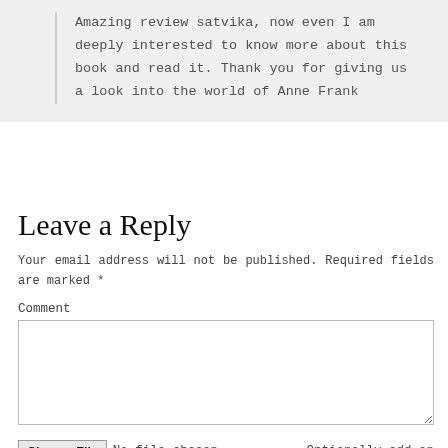Amazing review satvika, now even I am deeply interested to know more about this book and read it. Thank you for giving us a look into the world of Anne Frank
Leave a Reply
Your email address will not be published. Required fields are marked *
Comment
Choose File  No file chosen    Optionally add an image (JPEG only)
Name *